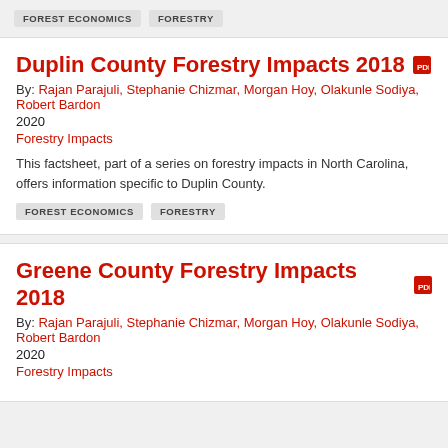FOREST ECONOMICS
FORESTRY
Duplin County Forestry Impacts 2018
By: Rajan Parajuli, Stephanie Chizmar, Morgan Hoy, Olakunle Sodiya, Robert Bardon
2020
Forestry Impacts
This factsheet, part of a series on forestry impacts in North Carolina, offers information specific to Duplin County.
FOREST ECONOMICS
FORESTRY
Greene County Forestry Impacts 2018
By: Rajan Parajuli, Stephanie Chizmar, Morgan Hoy, Olakunle Sodiya, Robert Bardon
2020
Forestry Impacts